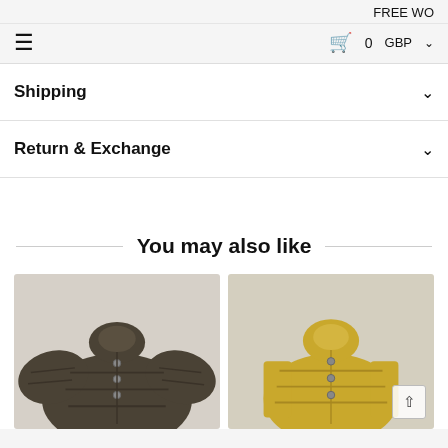FREE WO
≡   🛍 0   GBP ∨
Shipping
Return & Exchange
You may also like
[Figure (photo): Dark olive/brown puffer jacket with snap buttons and high collar]
[Figure (photo): Yellow/mustard puffer vest with snap buttons and high collar]